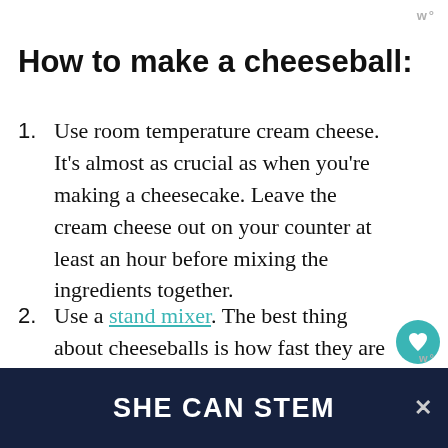w°
How to make a cheeseball:
Use room temperature cream cheese. It's almost as crucial as when you're making a cheesecake. Leave the cream cheese out on your counter at least an hour before mixing the ingredients together.
Use a stand mixer. The best thing about cheeseballs is how fast they are to make. As long as you've got your cream cheese at roo temperature you can literally make it in 10 minutes or less. Just…all the ingredients…
[Figure (other): SHE CAN STEM advertisement banner in dark navy background with white bold text and a close button]
w°